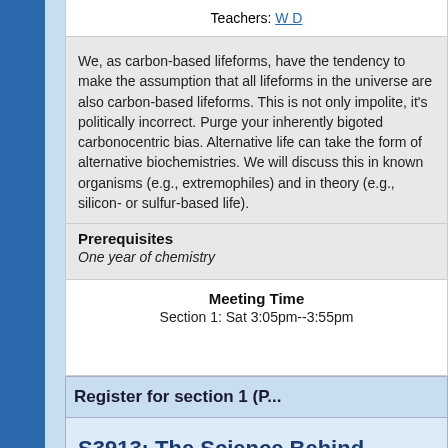Teachers: W D
We, as carbon-based lifeforms, have the tendency to make the assumption that all lifeforms in the universe are also carbon-based lifeforms. This is not only impolite, it's politically incorrect. Purge your inherently bigoted carbonocentric bias. Alternative life can take the form of alternative biochemistries. We will discuss this in known organisms (e.g., extremophiles) and in theory (e.g., silicon- or sulfur-based life).
Prerequisites
One year of chemistry
Meeting Time
Section 1: Sat 3:05pm--3:55pm
Register for section 1 (P...
S3913: The Science Behind...
Teachers: Ravi Charan, Anubhav Sinha, Da... Xiao